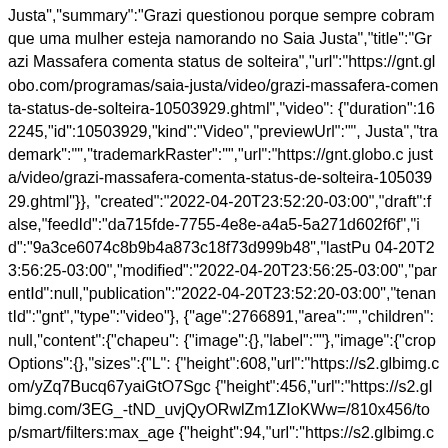Justa","summary":"Grazi questionou porque sempre cobram que uma mulher esteja namorando no Saia Justa","title":"Grazi Massafera comenta status de solteira","url":"https://gnt.globo.com/programas/saia-justa/video/grazi-massafera-comenta-status-de-solteira-10503929.ghtml","video": {"duration":162245,"id":10503929,"kind":"Video","previewUrl":"", Justa","trademark":"","trademarkRaster":"","url":"https://gnt.globo.c justa/video/grazi-massafera-comenta-status-de-solteira-10503929.ghtml"}},"created":"2022-04-20T23:52:20-03:00","draft":false,"feedId":"da715fde-7755-4e8e-a4a5-5a271d602f6f","id":"9a3ce6074c8b9b4a873c18f73d999b48","lastPu 04-20T23:56:25-03:00","modified":"2022-04-20T23:56:25-03:00","parentId":null,"publication":"2022-04-20T23:52:20-03:00","tenantId":"gnt","type":"video"}, {"age":2766891,"area":"","children":null,"content":{"chapeu": {"image":{},"label":""},"image":{"cropOptions":{},"sizes":{"L": {"height":608,"url":"https://s2.glbimg.com/yZq7Bucq67yaiGtO7Sgc {"height":456,"url":"https://s2.glbimg.com/3EG_-tND_uvjQyORwlZm1ZIoKWw=/810x456/top/smart/filters:max_age {"height":94,"url":"https://s2.glbimg.com/K07q279oLCVFaVCtysEl {"height":304,"url":"https://s2.glbimg.com/wKja8TrQoO1poCRwd-pR0YbdnpM=/540x304/top/smart/filters:max_age(3600)/https://s01. {"height":620,"url":"https://s2.glbimg.com/0rrfXGG4bEgHj56pb582 {"height":1080,"url":"https://s2.glbimg.com/zC7JC8T-